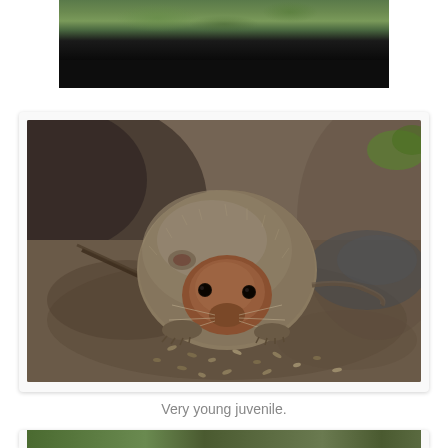[Figure (photo): Top portion of a photo showing water/river edge with green vegetation and a dark black band at the bottom, partially cropped]
[Figure (photo): A very young juvenile water vole (small round brown/grey rodent with reddish-brown face patch) sitting on muddy ground with scattered seeds, viewed from above]
Very young juvenile.
[Figure (photo): Bottom portion of another photo showing green vegetation, partially cropped at page bottom]